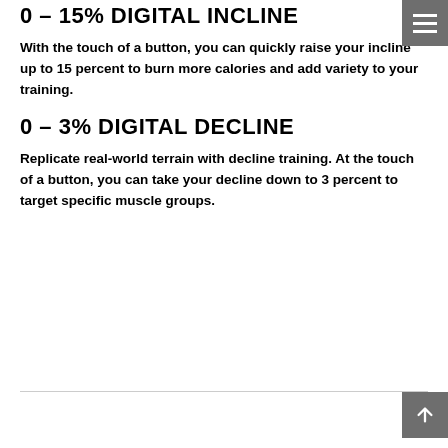0 – 15% DIGITAL INCLINE
With the touch of a button, you can quickly raise your incline up to 15 percent to burn more calories and add variety to your training.
0 – 3% DIGITAL DECLINE
Replicate real-world terrain with decline training. At the touch of a button, you can take your decline down to 3 percent to target specific muscle groups.